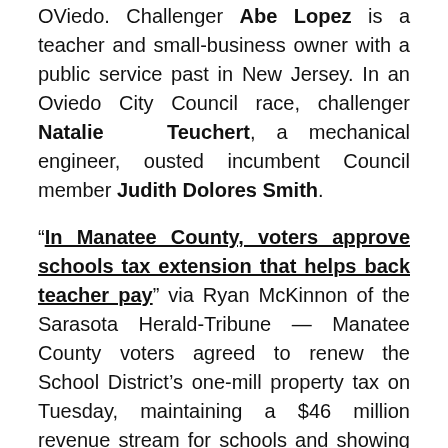OViedo. Challenger Abe Lopez is a teacher and small-business owner with a public service past in New Jersey. In an Oviedo City Council race, challenger Natalie Teuchert, a mechanical engineer, ousted incumbent Council member Judith Dolores Smith.
“In Manatee County, voters approve schools tax extension that helps back teacher pay” via Ryan McKinnon of the Sarasota Herald-Tribune — Manatee County voters agreed to renew the School District’s one-mill property tax on Tuesday, maintaining a $46 million revenue stream for schools and showing support for the district’s academic progress since the tax was enacted in 2018. The referendum passed 70% to 30%, with roughly 66,000 registered